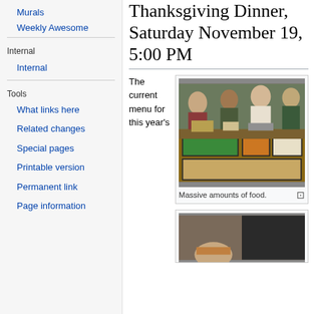Murals
Weekly Awesome
Internal
Internal
Tools
What links here
Related changes
Special pages
Printable version
Permanent link
Page information
Thanksgiving Dinner, Saturday November 19, 5:00 PM
The current menu for this year's
[Figure (photo): People serving themselves food at a long table with large trays of food including green peas, sweet potatoes, stuffing, and other Thanksgiving dishes.]
Massive amounts of food.
[Figure (photo): A person's face visible at the bottom of a photo, partially cropped.]